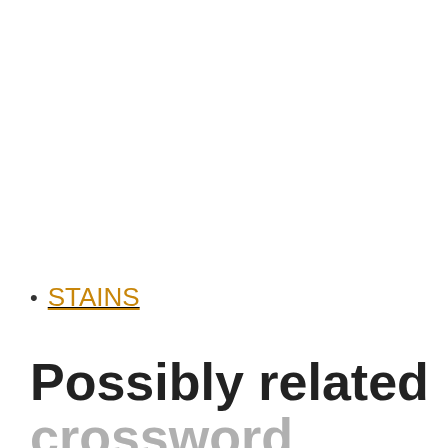STAINS
Possibly related crossword clues for "Dishonors"